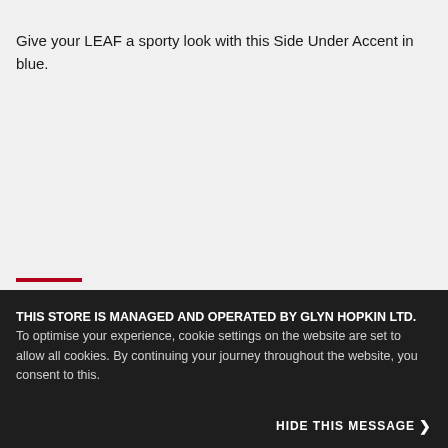Give your LEAF a sporty look with this Side Under Accent in blue.
THIS STORE IS MANAGED AND OPERATED BY GLYN HOPKIN LTD. To optimise your experience, cookie settings on the website are set to allow all cookies. By continuing your journey throughout the website, you consent to this.
HIDE THIS MESSAGE >